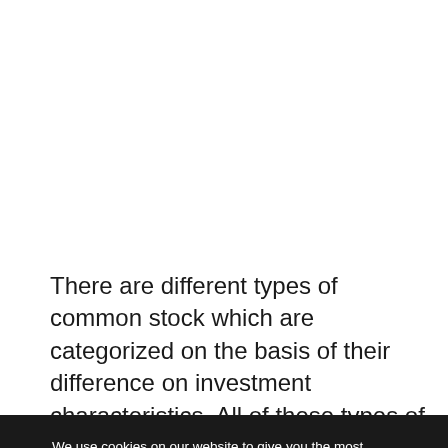There are different types of common stock which are categorized on the basis of their difference on investment characteristics. All of these types of common
We use cookies on our website to give you the most relevant experience by remembering your preferences and repeat visits. By clicking “Accept All”, you consent to the use of ALL the cookies. However, you may visit "Cookie Settings" to provide a controlled consent.